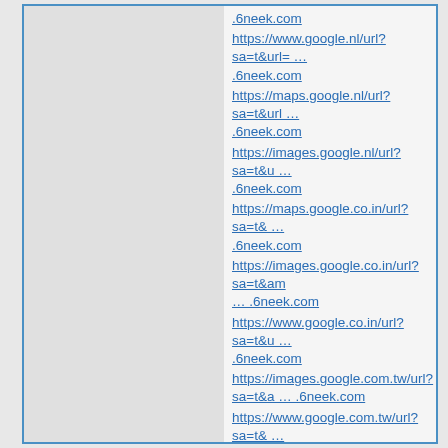.6neek.com
https://www.google.nl/url?sa=t&url= … .6neek.com
https://maps.google.nl/url?sa=t&url … .6neek.com
https://images.google.nl/url?sa=t&u … .6neek.com
https://maps.google.co.in/url?sa=t& … .6neek.com
https://images.google.co.in/url?sa=t&am … .6neek.com
https://www.google.co.in/url?sa=t&u … .6neek.com
https://images.google.com.tw/url?sa=t&a … .6neek.com
https://www.google.com.tw/url?sa=t& … .6neek.com
https://maps.google.com.tw/url?sa=t& … .6neek.com
https://maps.google.co.id/url?sa=t& … .6neek.com
https://images.google.co.id/url?sa=t&am … .6neek.com
https://www.google.co.id/url?sa=t&u … .6neek.com
https://maps.google.cz/url?sa=t&url … .6neek.com
https://images.google.com.ua/url?sa=t&a … .6neek.com